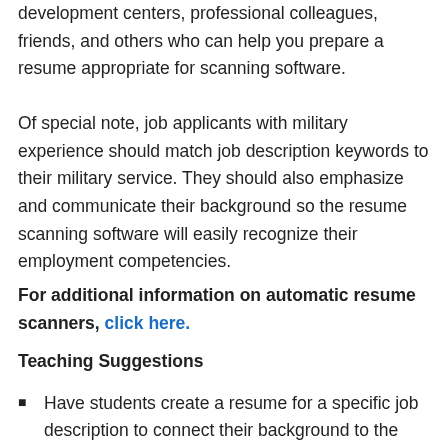development centers, professional colleagues, friends, and others who can help you prepare a resume appropriate for scanning software.
Of special note, job applicants with military experience should match job description keywords to their military service. They should also emphasize and communicate their background so the resume scanning software will easily recognize their employment competencies.
For additional information on automatic resume scanners, click here.
Teaching Suggestions
Have students create a resume for a specific job description to connect their background to the available position.